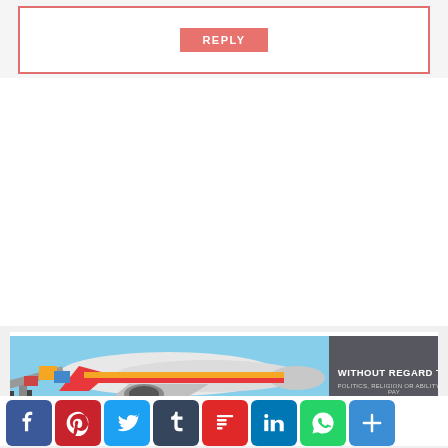[Figure (screenshot): Reply button inside a bordered box with salmon/red border]
[Figure (photo): Advertisement banner showing cargo being loaded onto a Southwest Airlines plane with text WITHOUT REGARD TO POLITICS, RELIGION OR ABILITY TO PAY]
[Figure (infographic): Social media share icons: Facebook, Pinterest, Twitter, Tumblr, Flipboard, LinkedIn, WhatsApp, Share]